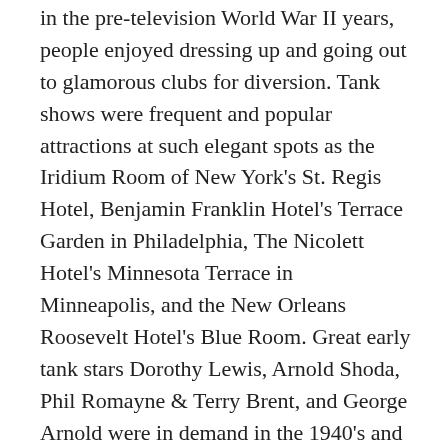in the pre-television World War II years, people enjoyed dressing up and going out to glamorous clubs for diversion. Tank shows were frequent and popular attractions at such elegant spots as the Iridium Room of New York's St. Regis Hotel, Benjamin Franklin Hotel's Terrace Garden in Philadelphia, The Nicolett Hotel's Minnesota Terrace in Minneapolis, and the New Orleans Roosevelt Hotel's Blue Room. Great early tank stars Dorothy Lewis, Arnold Shoda, Phil Romayne & Terry Brent, and George Arnold were in demand in the 1940's and 50's.
The Hotel New Yorker in N.Y., Copley-Plaza in Boston, Conrad Hilton in Chicago, Adolphus in Dallas, Sheraton in Ft. Lauderdale, FL, and Flamingo Hilton in Las Vegas became known for the excellent mini ice musicals that they presented, in some cases for as long as twenty years. In Las Vegas many hotels have offered lively ice revues (occasionally with topless skating showgirls) including the El Cortez, Thunderbird, Hacienda, Stardust, Caesar's Palace, and Luxor, Atlantic City's Trump's Castle, Tropicana, Bally's